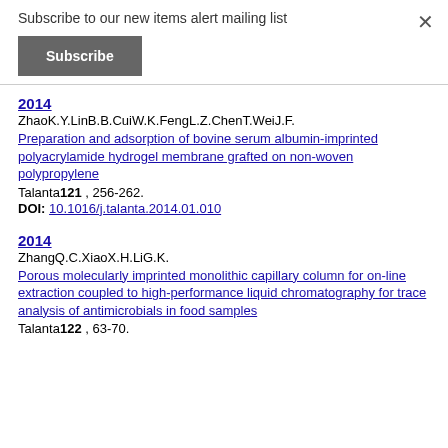Subscribe to our new items alert mailing list
Subscribe
2014
ZhaoK.Y.LinB.B.CuiW.K.FengL.Z.ChenT.WeiJ.F.
Preparation and adsorption of bovine serum albumin-imprinted polyacrylamide hydrogel membrane grafted on non-woven polypropylene
Talanta121 , 256-262.
DOI: 10.1016/j.talanta.2014.01.010
2014
ZhangQ.C.XiaoX.H.LiG.K.
Porous molecularly imprinted monolithic capillary column for on-line extraction coupled to high-performance liquid chromatography for trace analysis of antimicrobials in food samples
Talanta122 , 63-70